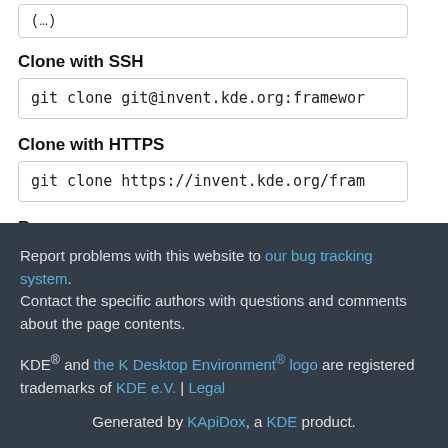Clone with SSH
git clone git@invent.kde.org:framewor
Clone with HTTPS
git clone https://invent.kde.org/fram
Browse source
Syndication on invent.kde.org
Report problems with this website to our bug tracking system. Contact the specific authors with questions and comments about the page contents. KDE® and the K Desktop Environment® logo are registered trademarks of KDE e.V. | Legal Generated by KApiDox, a KDE product.